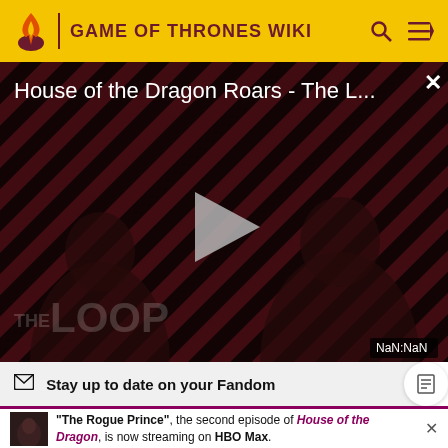GAME OF THRONES WIKI
[Figure (screenshot): Video player showing 'House of the Dragon Roars - The L...' with diagonal stripe background, two dark silhouetted figures, a play button in center, 'THE LOOP' watermark, and NaN:NaN timer badge]
Stay up to date on your Fandom
"The Rogue Prince", the second episode of House of the Dragon, is now streaming on HBO Max.